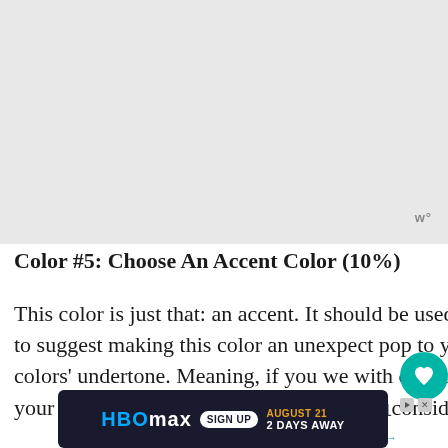[Figure (other): Gray top area / advertisement placeholder image region]
Color #5: Choose An Accent Color (10%)
This color is just that: an accent. It should be used in small doses throughout your home. I like to suggest making this color an unexpected pop to your color scheme that is opposite your other colors' undertone. Meaning, if you went with cool tones for colors 1–4, make this a warm-tone. If your palette so far is monochromatic blue, consider making your accent a warm red. You can choose this as
[Figure (other): HBO Max advertisement banner: HBOMAX SIGN UP | AUGUST 21 2 DAYS AWAY]
w°